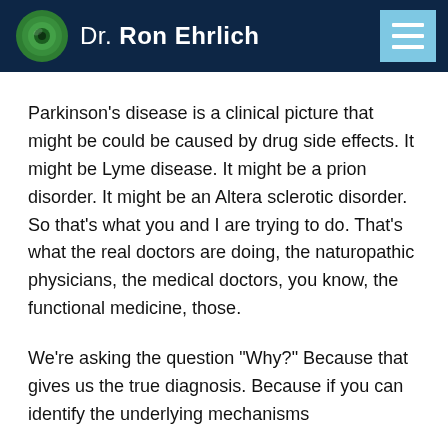Dr. Ron Ehrlich
Parkinson’s disease is a clinical picture that might be could be caused by drug side effects. It might be Lyme disease. It might be a prion disorder. It might be an Altera sclerotic disorder. So that’s what you and I are trying to do. That’s what the real doctors are doing, the naturopathic physicians, the medical doctors, you know, the functional medicine, those.
We’re asking the question “Why?” Because that gives us the true diagnosis. Because if you can identify the underlying mechanisms